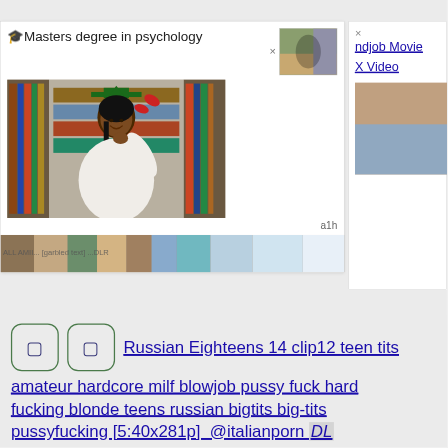🎓Masters degree in psychology
[Figure (photo): Young woman in graduation cap and gown posing in a library, lying on the floor smiling at camera]
× ndjob Movie
X Video
a1h
[Figure (photo): Colorful horizontal strip image at bottom of card]
Russian Eighteens 14 clip12 teen tits amateur hardcore milf blowjob pussy fuck hard fucking blonde teens russian bigtits big-tits pussyfucking [5:40x281p]  @italianporn DL